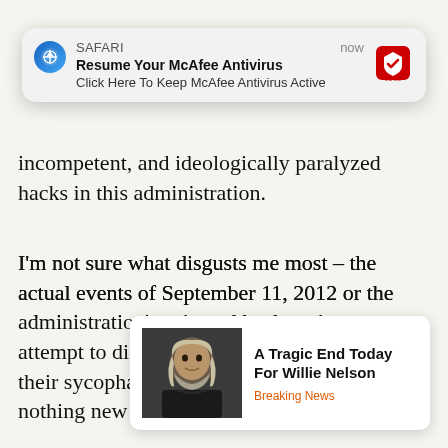[Figure (screenshot): Safari browser push notification popup saying 'Resume Your McAfee Antivirus - Click Here To Keep McAfee Antivirus Active' with McAfee logo, timestamp 'now']
incompetent, and ideologically paralyzed hacks in this administration.
I'm not sure what disgusts me most – the actual events of September 11, 2012 or the administration's spin and hackery in an attempt to dispel its culpability. They stoked their sycophantic media to proclaim there's nothing new in the report while it clearly documents a lack of understanding that borders on hypocrisy... Hillary is exo...
[Figure (screenshot): News widget popup showing photo of Willie Nelson with headline 'A Tragic End Today For Willie Nelson' and tag 'Breaking News']